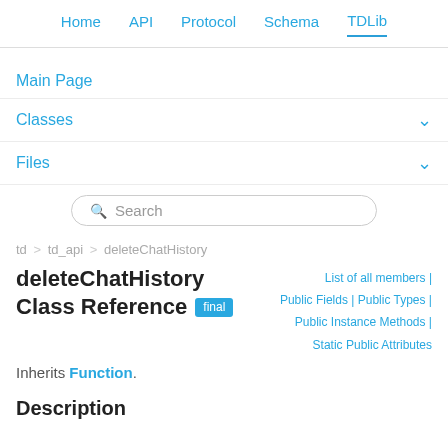Home | API | Protocol | Schema | TDLib
Main Page
Classes
Files
Search
td > td_api > deleteChatHistory
deleteChatHistory Class Reference [final]
List of all members | Public Fields | Public Types | Public Instance Methods | Static Public Attributes
Inherits Function.
Description